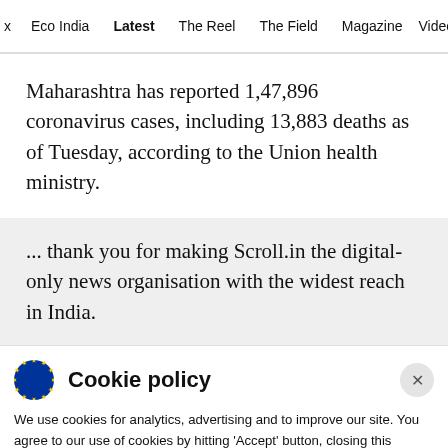x  Eco India  Latest  The Reel  The Field  Magazine  Video
Maharashtra has reported 1,47,896 coronavirus cases, including 13,883 deaths as of Tuesday, according to the Union health ministry.
... thank you for making Scroll.in the digital-only news organisation with the widest reach in India.
Cookie policy

We use cookies for analytics, advertising and to improve our site. You agree to our use of cookies by hitting 'Accept' button, closing this message box or continuing to use our site. To find out more see our Privacy policy .

Accept